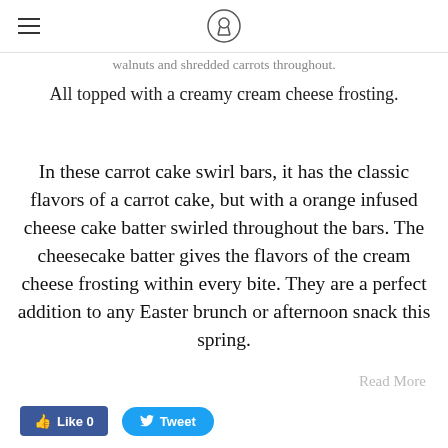[hamburger menu icon] [logo circle icon]
walnuts and shredded carrots throughout. All topped with a creamy cream cheese frosting.
In these carrot cake swirl bars, it has the classic flavors of a carrot cake, but with a orange infused cheese cake batter swirled throughout the bars. The cheesecake batter gives the flavors of the cream cheese frosting within every bite. They are a perfect addition to any Easter brunch or afternoon snack this spring.
Read More
Like 0
Tweet